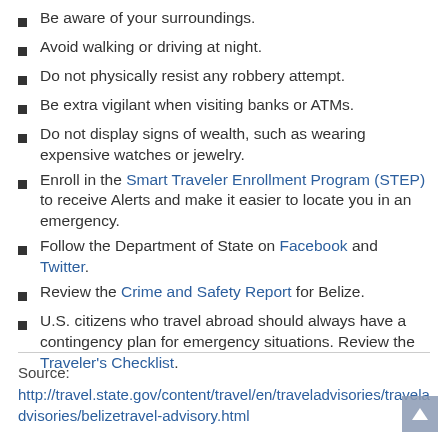Be aware of your surroundings.
Avoid walking or driving at night.
Do not physically resist any robbery attempt.
Be extra vigilant when visiting banks or ATMs.
Do not display signs of wealth, such as wearing expensive watches or jewelry.
Enroll in the Smart Traveler Enrollment Program (STEP) to receive Alerts and make it easier to locate you in an emergency.
Follow the Department of State on Facebook and Twitter.
Review the Crime and Safety Report for Belize.
U.S. citizens who travel abroad should always have a contingency plan for emergency situations. Review the Traveler's Checklist.
Source:
http://travel.state.gov/content/travel/en/traveladvisories/traveladvisories/belizetravel-advisory.html